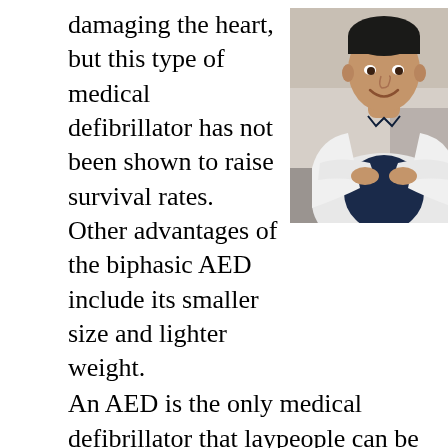damaging the heart, but this type of medical defibrillator has not been shown to raise survival rates. Other advantages of the biphasic AED include its smaller size and lighter weight. An AED is the only medical defibrillator that laypeople can be trained and permitted to use; all other types must be operated by a healthcare provider. They also figure among the equipment of emergency medical technicians (EMTs) and paramedics, and they frequently are found in public buildings and places such as hotels,
[Figure (photo): A smiling man in a white lab coat with arms crossed, standing in what appears to be a medical or laboratory setting.]